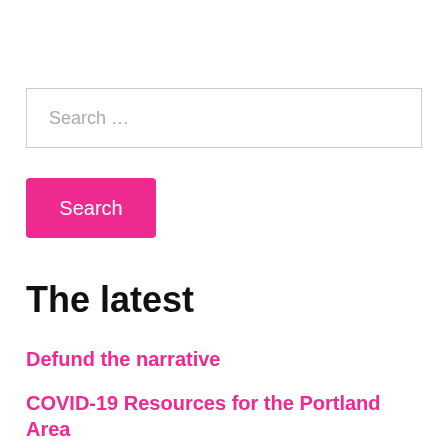[Figure (screenshot): Search input field with placeholder text 'Search …']
[Figure (screenshot): Pink search button labeled 'Search']
The latest
Defund the narrative
COVID-19 Resources for the Portland Area